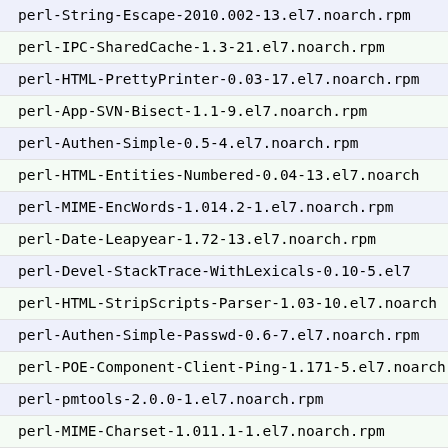perl-String-Escape-2010.002-13.el7.noarch.rpm
perl-IPC-SharedCache-1.3-21.el7.noarch.rpm
perl-HTML-PrettyPrinter-0.03-17.el7.noarch.rpm
perl-App-SVN-Bisect-1.1-9.el7.noarch.rpm
perl-Authen-Simple-0.5-4.el7.noarch.rpm
perl-HTML-Entities-Numbered-0.04-13.el7.noarch.rpm
perl-MIME-EncWords-1.014.2-1.el7.noarch.rpm
perl-Date-Leapyear-1.72-13.el7.noarch.rpm
perl-Devel-StackTrace-WithLexicals-0.10-5.el7
perl-HTML-StripScripts-Parser-1.03-10.el7.noarch
perl-Authen-Simple-Passwd-0.6-7.el7.noarch.rpm
perl-POE-Component-Client-Ping-1.171-5.el7.noarch
perl-pmtools-2.0.0-1.el7.noarch.rpm
perl-MIME-Charset-1.011.1-1.el7.noarch.rpm